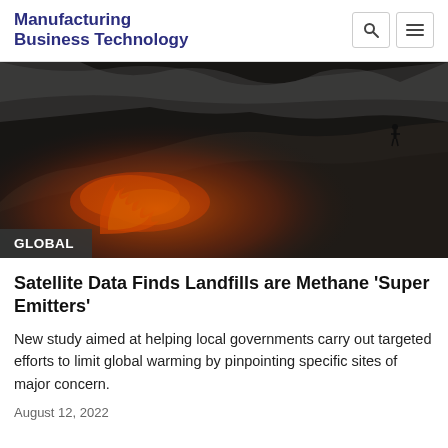Manufacturing Business Technology
[Figure (photo): A large smoldering landfill mound with flames and embers visible, smoke rising into the sky, and a person standing on the ridge at top right.]
GLOBAL
Satellite Data Finds Landfills are Methane 'Super Emitters'
New study aimed at helping local governments carry out targeted efforts to limit global warming by pinpointing specific sites of major concern.
August 12, 2022